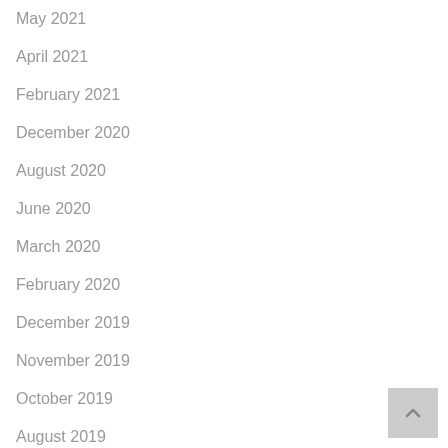May 2021
April 2021
February 2021
December 2020
August 2020
June 2020
March 2020
February 2020
December 2019
November 2019
October 2019
August 2019